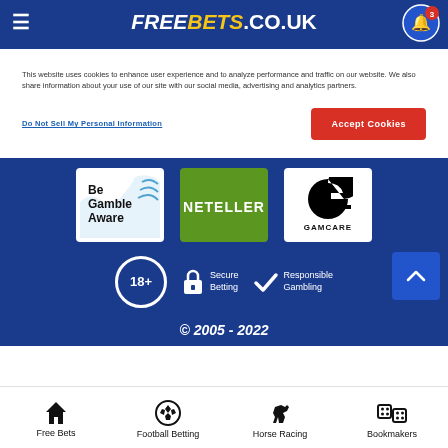FREEBETS.CO.UK
This website uses cookies to enhance user experience and to analyze performance and traffic on our website. We also share information about your use of our site with our social media, advertising and analytics partners.
Do Not Sell My Personal Information
Accept Cookies
[Figure (logo): Be Gamble Aware logo]
[Figure (logo): NETELLER logo]
[Figure (logo): GAMCARE logo]
[Figure (infographic): 18+ badge, Secure Betting padlock icon, Responsible Gambling checkmark]
© 2005 - 2022
Free Bets  Football Betting  Horse Racing  Bookmakers